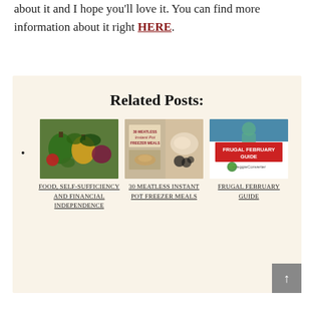about it and I hope you'll love it. You can find more information about it right HERE.
Related Posts:
[Figure (photo): Thumbnail image of vegetables for Food, Self-Sufficiency and Financial Independence post]
FOOD, SELF-SUFFICIENCY AND FINANCIAL INDEPENDENCE
[Figure (photo): Thumbnail image for 30 Meatless Instant Pot Freezer Meals post]
30 MEATLESS INSTANT POT FREEZER MEALS
[Figure (photo): Thumbnail image for Frugal February Guide post from VeggieConverter]
FRUGAL FEBRUARY GUIDE